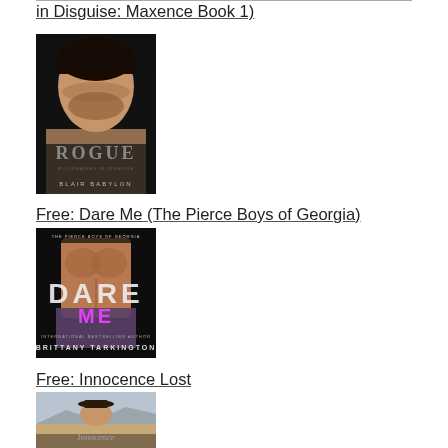in Disguise: Maxence Book 1)
[Figure (photo): Book cover for Rogue by Blair Babylon — dark romance novel cover featuring a man's face close-up, ROGUE text and BLAIR BABYLON author name]
Free: Dare Me (The Pierce Boys of Georgia)
[Figure (photo): Book cover for Dare Me by Brittany Tarkington — dark romance novel cover featuring a muscular man, DARE ME text and BRITTANY TARKINGTON author name]
Free: Innocence Lost
[Figure (photo): Book cover for Innocence Lost — featuring a man in a cowboy hat, Innocence text visible]